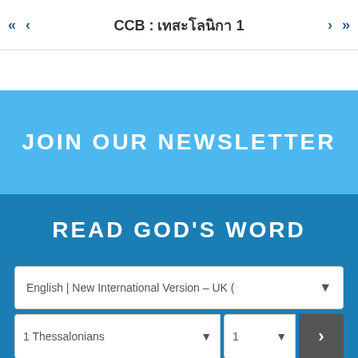CCB : &#3648;&#3607;&#3626;&#3632;&#3650;&#3621;&#3609;&#3636;&#3585;&#3634; 1
JOIN OUR NEWSLETTER
READ GOD'S WORD
English | New International Version – UK (
1 Thessalonians   1